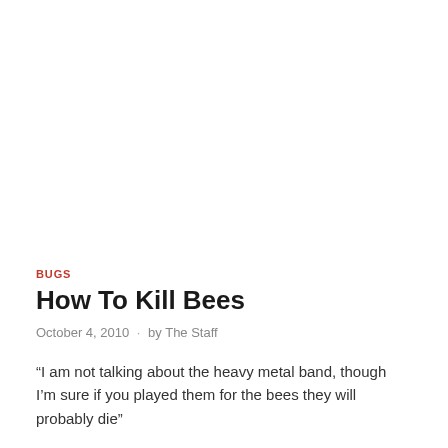BUGS
How To Kill Bees
October 4, 2010  ·  by The Staff
“I am not talking about the heavy metal band, though I’m sure if you played them for the bees they will probably die”